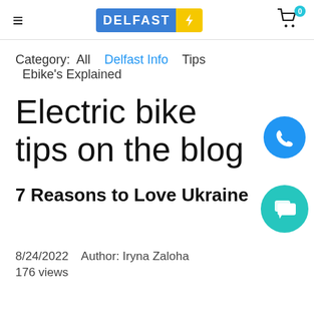DELFAST [logo] — hamburger menu, cart with 0 badge
Category: All  Delfast Info  Tips  Ebike's Explained
Electric bike tips on the blog
7 Reasons to Love Ukraine
8/24/2022  Author: Iryna Zaloha
176 views